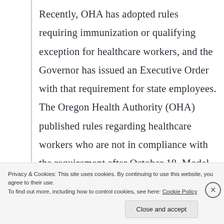Recently, OHA has adopted rules requiring immunization or qualifying exception for healthcare workers, and the Governor has issued an Executive Order with that requirement for state employees. The Oregon Health Authority (OHA) published rules regarding healthcare workers who are not in compliance with the requirement after October 18. Model rules for temporary adoption have been issued by the DOJ and the expectation is that all state healthcare regulatory boards adopt
Privacy & Cookies: This site uses cookies. By continuing to use this website, you agree to their use.
To find out more, including how to control cookies, see here: Cookie Policy
Close and accept